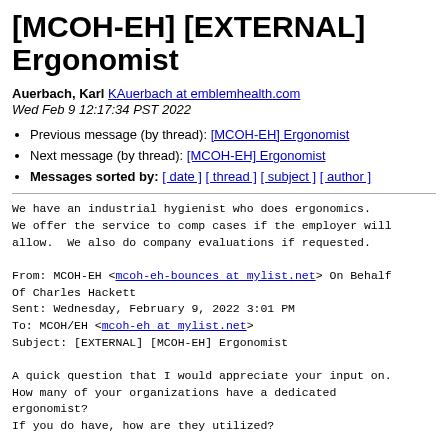[MCOH-EH] [EXTERNAL] Ergonomist
Auerbach, Karl KAuerbach at emblemhealth.com
Wed Feb 9 12:17:34 PST 2022
Previous message (by thread): [MCOH-EH] Ergonomist
Next message (by thread): [MCOH-EH] Ergonomist
Messages sorted by: [ date ] [ thread ] [ subject ] [ author ]
We have an industrial hygienist who does ergonomics.
We offer the service to comp cases if the employer will
allow.  We also do company evaluations if requested.

From: MCOH-EH <mcoh-eh-bounces at mylist.net> On Behalf
Of Charles Hackett
Sent: Wednesday, February 9, 2022 3:01 PM
To: MCOH/EH <mcoh-eh at mylist.net>
Subject: [EXTERNAL] [MCOH-EH] Ergonomist

A quick question that I would appreciate your input on.
How many of your organizations have a dedicated
ergonomist?
If you do have, how are they utilized?